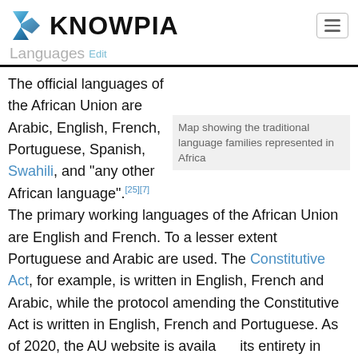KNOWPIA
Languages Edit
The official languages of the African Union are Arabic, English, French, Portuguese, Spanish, Swahili, and "any other African language".[25][7] The primary working languages of the African Union are English and French. To a lesser extent Portuguese and Arabic are used. The Constitutive Act, for example, is written in English, French and Arabic, while the protocol amending the Constitutive Act is written in English, French and Portuguese. As of 2020, the AU website is available in its entirety in English, partially in French and minimally in Arabic.[26] Portuguese and Swahili are
Map showing the traditional language families represented in Africa